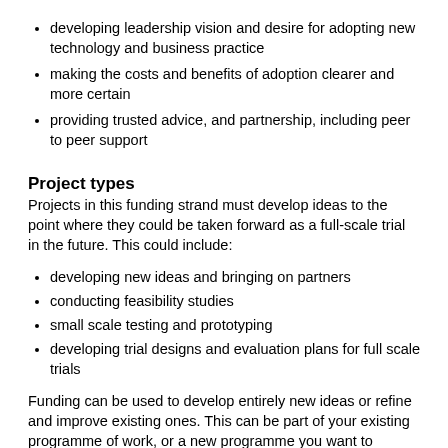developing leadership vision and desire for adopting new technology and business practice
making the costs and benefits of adoption clearer and more certain
providing trusted advice, and partnership, including peer to peer support
Project types
Projects in this funding strand must develop ideas to the point where they could be taken forward as a full-scale trial in the future. This could include:
developing new ideas and bringing on partners
conducting feasibility studies
small scale testing and prototyping
developing trial designs and evaluation plans for full scale trials
Funding can be used to develop entirely new ideas or refine and improve existing ones. This can be part of your existing programme of work, or a new programme you want to initiate.